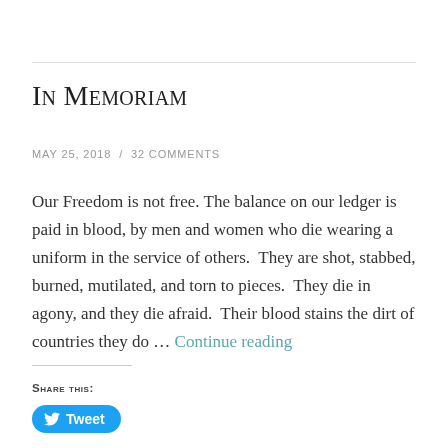In Memoriam
MAY 25, 2018  /  32 COMMENTS
Our Freedom is not free. The balance on our ledger is paid in blood, by men and women who die wearing a uniform in the service of others.  They are shot, stabbed, burned, mutilated, and torn to pieces.  They die in agony, and they die afraid.  Their blood stains the dirt of countries they do … Continue reading
Share this:
Tweet